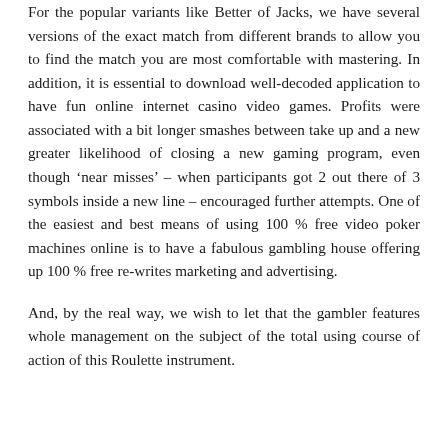For the popular variants like Better of Jacks, we have several versions of the exact match from different brands to allow you to find the match you are most comfortable with mastering. In addition, it is essential to download well-decoded application to have fun online internet casino video games. Profits were associated with a bit longer smashes between take up and a new greater likelihood of closing a new gaming program, even though ‘near misses’ – when participants got 2 out there of 3 symbols inside a new line – encouraged further attempts. One of the easiest and best means of using 100 % free video poker machines online is to have a fabulous gambling house offering up 100 % free re-writes marketing and advertising.
And, by the real way, we wish to let that the gambler features whole management on the subject of the total using course of action of this Roulette instrument.